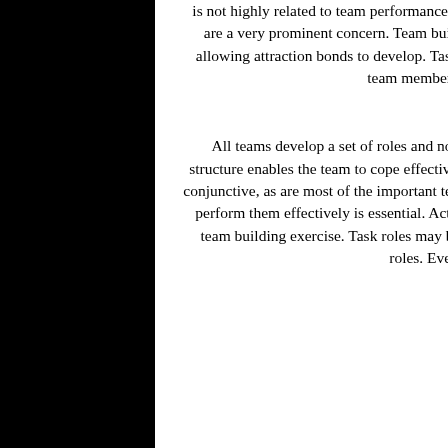is not highly related to team performance. Nevertheless, the patterns of interpersonal attraction within a team are a very prominent concern. Team building exercises that have a component of fun or play are useful in allowing attraction bonds to develop. Task cohesiveness refers to the way in which skills and abilities of the team members mesh to allow effective performance.
4. Roles and Norms
All teams develop a set of roles and norms over time. In task oriented teams, it is essential that the role structure enables the team to cope effectively with the requirements of the task. When the task is divisible and conjunctive, as are most of the important team tasks in our society, the assignment of roles to members who can perform them effectively is essential. Active consideration of the role structure can be an important part of a team building exercise. Task roles may be rotated so that all team members experience, and learn from, all roles. Even then, it is important that the norm